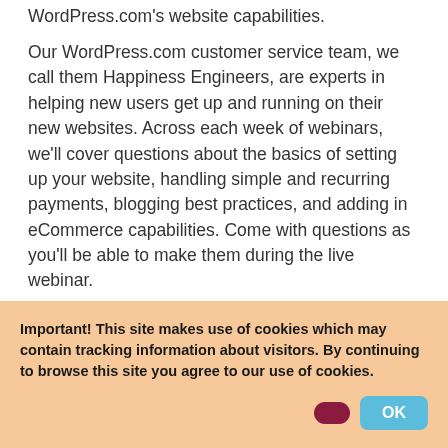WordPress.com's website capabilities.
Our WordPress.com customer service team, we call them Happiness Engineers, are experts in helping new users get up and running on their new websites. Across each week of webinars, we'll cover questions about the basics of setting up your website, handling simple and recurring payments, blogging best practices, and adding in eCommerce capabilities. Come with questions as you'll be able to make them during the live webinar.
Important! This site makes use of cookies which may contain tracking information about visitors. By continuing to browse this site you agree to our use of cookies.